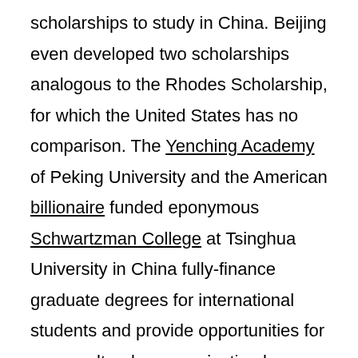scholarships to study in China. Beijing even developed two scholarships analogous to the Rhodes Scholarship, for which the United States has no comparison. The Yenching Academy of Peking University and the American billionaire funded eponymous Schwartzman College at Tsinghua University in China fully-finance graduate degrees for international students and provide opportunities for cross-cultural communication by blending classes of domestic Chinese students with American and other international students.
With enormous investments, both Chinese and European exchange programs have outstripped the United States. Reinvigorating American soft power